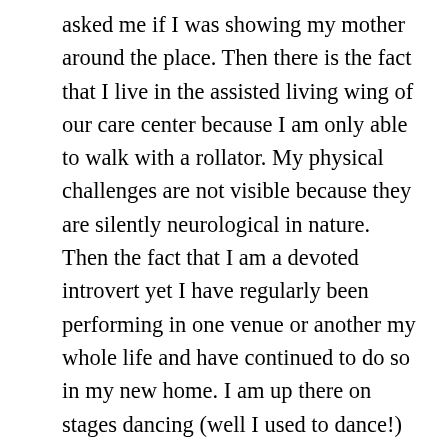asked me if I was showing my mother around the place. Then there is the fact that I live in the assisted living wing of our care center because I am only able to walk with a rollator. My physical challenges are not visible because they are silently neurological in nature. Then the fact that I am a devoted introvert yet I have regularly been performing in one venue or another my whole life and have continued to do so in my new home. I am up there on stages dancing (well I used to dance!) or singing or reciting my poetry. Actually, many performers are introverts who do not find it easy to chat and mingle yet they can deliver intimate expressions when addressing an anonymous crowd. Boxes of political beliefs, nice people